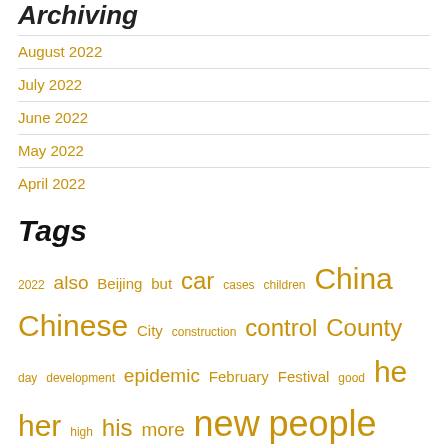Archiving
August 2022
July 2022
June 2022
May 2022
April 2022
Tags
2022 also Beijing but car cases children China Chinese City construction control County day development epidemic February Festival good he her high his more new people police prevention road safety school she snow Spring team their time very